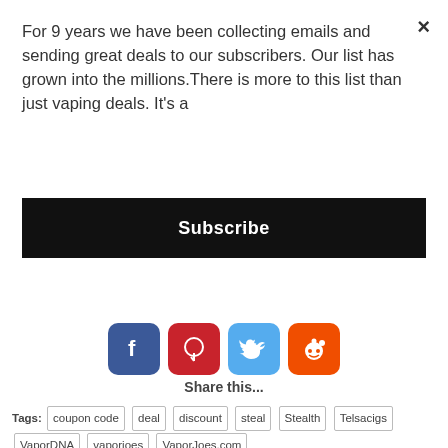For 9 years we have been collecting emails and sending great deals to our subscribers. Our list has grown into the millions.There is more to this list than just vaping deals. It's a
Subscribe
[Figure (infographic): Four social media icons: Facebook (blue), Pinterest (red), Twitter (cyan), Reddit (orange)]
Share this...
Tags: coupon code deal discount steal Stealth Telsacigs VaporDNA vaporjoes VaporJoes.com
Previous
Next
LAST DAY ON THIS DEAL: $12.50 / 120ML OF EJUICE
USA: FOUR LG HE4 18650 35A BATTERIES – $16.99